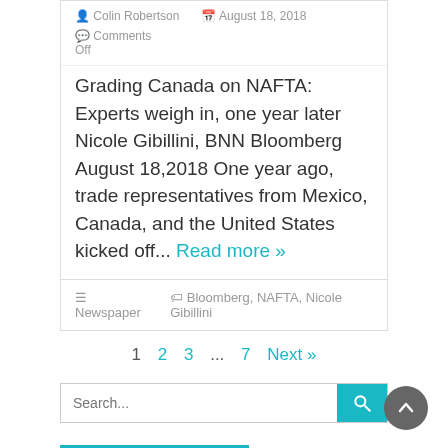Colin Robertson  August 18, 2018  Comments Off
Grading Canada on NAFTA: Experts weigh in, one year later Nicole Gibillini, BNN Bloomberg August 18,2018 One year ago, trade representatives from Mexico, Canada, and the United States kicked off... Read more »
Newspaper  Bloomberg, NAFTA, Nicole Gibillini
1  2  3  ...  7  Next »
Search...
RECENT POSTS